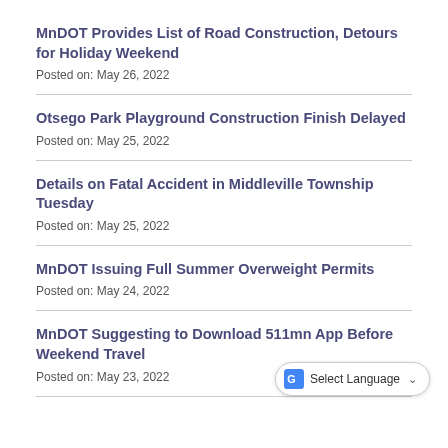MnDOT Provides List of Road Construction, Detours for Holiday Weekend
Posted on: May 26, 2022
Otsego Park Playground Construction Finish Delayed
Posted on: May 25, 2022
Details on Fatal Accident in Middleville Township Tuesday
Posted on: May 25, 2022
MnDOT Issuing Full Summer Overweight Permits
Posted on: May 24, 2022
MnDOT Suggesting to Download 511mn App Before Weekend Travel
Posted on: May 23, 2022